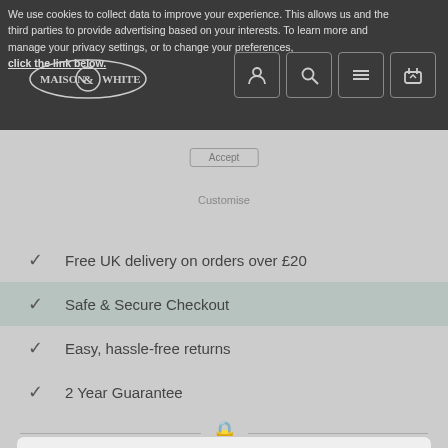Maison & White — navigation header with logo and icons
We use cookies to collect data to improve your experience. This allows us and third parties to provide advertising based on your interests. Click the link below.
Free UK delivery on orders over £20
Safe & Secure Checkout
Easy, hassle-free returns
2 Year Guarantee
[Figure (infographic): Lock icon with horizontal divider lines on each side indicating secure payment]
[Figure (infographic): Payment method logos: VISA, Mastercard, PayPal, Apple Pay, Google Pay]
Add to Wish List
Price drop notifications